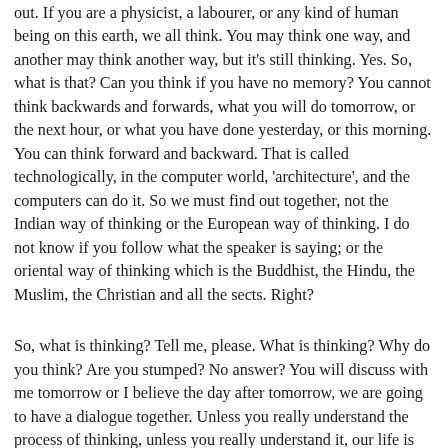out. If you are a physicist, a labourer, or any kind of human being on this earth, we all think. You may think one way, and another may think another way, but it's still thinking. Yes. So, what is that? Can you think if you have no memory? You cannot think backwards and forwards, what you will do tomorrow, or the next hour, or what you have done yesterday, or this morning. You can think forward and backward. That is called technologically, in the computer world, 'architecture', and the computers can do it. So we must find out together, not the Indian way of thinking or the European way of thinking. I do not know if you follow what the speaker is saying; or the oriental way of thinking which is the Buddhist, the Hindu, the Muslim, the Christian and all the sects. Right?
So, what is thinking? Tell me, please. What is thinking? Why do you think? Are you stumped? No answer? You will discuss with me tomorrow or I believe the day after tomorrow, we are going to have a dialogue together. Unless you really understand the process of thinking, unless you really understand it, our life is always going to be very, very limited. So, we must very deeply, seriously, as a physicist, as a scientist, examines, we must examine very, very, very closely this whole process of thinking, which shapes our life. Man has created god by his thinking. God has not created man. It must be a very, very poor god who created these human beings who are fighting each other perpetually. He must be a rather silly old god.